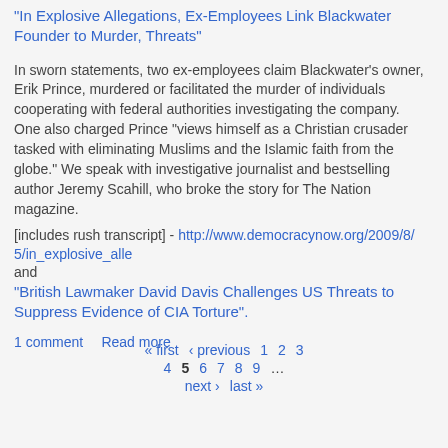"In Explosive Allegations, Ex-Employees Link Blackwater Founder to Murder, Threats"
In sworn statements, two ex-employees claim Blackwater's owner, Erik Prince, murdered or facilitated the murder of individuals cooperating with federal authorities investigating the company. One also charged Prince "views himself as a Christian crusader tasked with eliminating Muslims and the Islamic faith from the globe." We speak with investigative journalist and bestselling author Jeremy Scahill, who broke the story for The Nation magazine.
[includes rush transcript] - http://www.democracynow.org/2009/8/5/in_explosive_alle
and
"British Lawmaker David Davis Challenges US Threats to Suppress Evidence of CIA Torture".
1 comment   Read more
« first  ‹ previous  1  2  3  4  5  6  7  8  9  …  next ›  last »